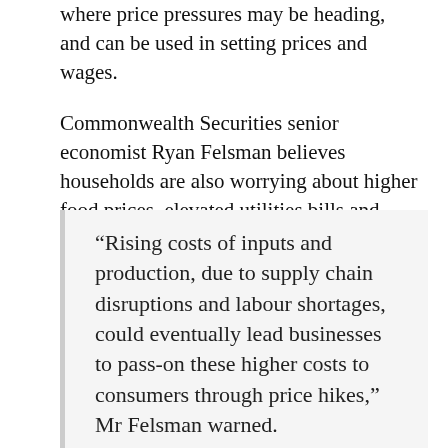where price pressures may be heading, and can be used in setting prices and wages.
Commonwealth Securities senior economist Ryan Felsman believes households are also worrying about higher food prices, elevated utilities bills and annual insurance premium hikes.
“Rising costs of inputs and production, due to supply chain disruptions and labour shortages, could eventually lead businesses to pass-on these higher costs to consumers through price hikes,” Mr Felsman warned.
“Rising consumer inflation expectations could potentially dampen confidence with households reluctant to spend in the near-term, delaying ‘big-ticket’